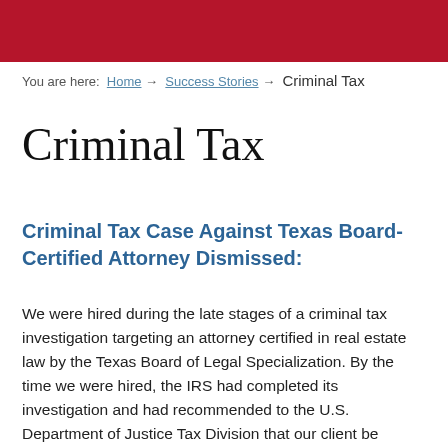[Figure (other): Red banner header background]
You are here: Home → Success Stories → Criminal Tax
Criminal Tax
Criminal Tax Case Against Texas Board-Certified Attorney Dismissed:
We were hired during the late stages of a criminal tax investigation targeting an attorney certified in real estate law by the Texas Board of Legal Specialization. By the time we were hired, the IRS had completed its investigation and had recommended to the U.S. Department of Justice Tax Division that our client be charged with three counts of tax evasion and one count of money laundering.